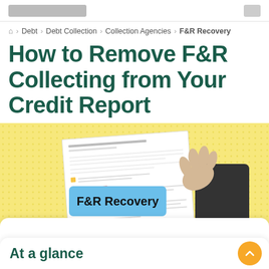[Logo placeholder]
🏠 > Debt > Debt Collection > Collection Agencies > F&R Recovery
How to Remove F&R Collecting from Your Credit Report
[Figure (illustration): A hand in a dark sleeve pulling a blue label reading 'F&R Recovery' off a credit report document, on a yellow dotted background.]
At a glance